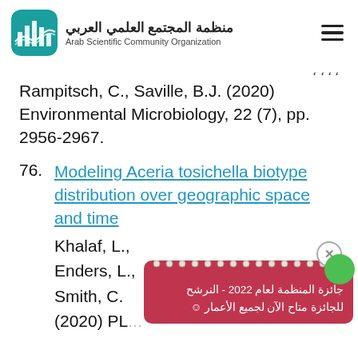منظمة المجتمع العلمي العربي / Arab Scientific Community Organization
Rampitsch, C., Saville, B.J. (2020) Environmental Microbiology, 22 (7), pp. 2956-2967.
76. Modeling Aceria tosichella biotype distribution over geographic space and time
Khalaf, L., Enders, L., Smith, C. (2020) PL...